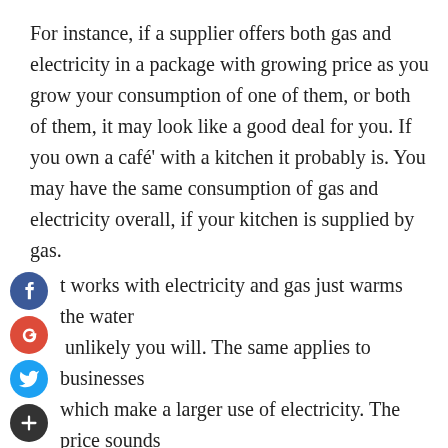For instance, if a supplier offers both gas and electricity in a package with growing price as you grow your consumption of one of them, or both of them, it may look like a good deal for you. If you own a café' with a kitchen it probably is. You may have the same consumption of gas and electricity overall, if your kitchen is supplied by gas.
t works with electricity and gas just warms the water unlikely you will. The same applies to businesses which make a larger use of electricity. The price sounds veniently cheap, but you are in fact paying for a ply you won't use and it may be worth going through the electricity only deals with a consultant before taking any conclusion.